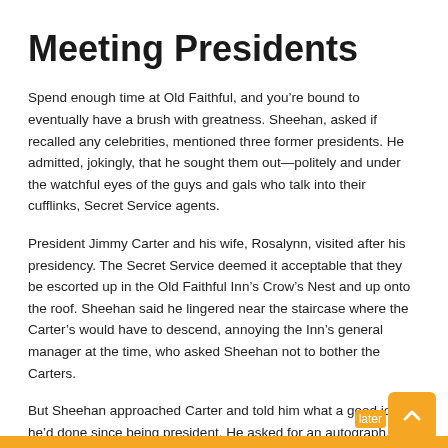Meeting Presidents
Spend enough time at Old Faithful, and you’re bound to eventually have a brush with greatness. Sheehan, asked if recalled any celebrities, mentioned three former presidents. He admitted, jokingly, that he sought them out—politely and under the watchful eyes of the guys and gals who talk into their cufflinks, Secret Service agents.
President Jimmy Carter and his wife, Rosalynn, visited after his presidency. The Secret Service deemed it acceptable that they be escorted up in the Old Faithful Inn’s Crow’s Nest and up onto the roof. Sheehan said he lingered near the staircase where the Carter’s would have to descend, annoying the Inn’s general manager at the time, who asked Sheehan not to bother the Carters.
But Sheehan approached Carter and told him what a good job he’d done since being president. He asked for an autograph, but Carter told him he stopped giving autographs when he learned people later